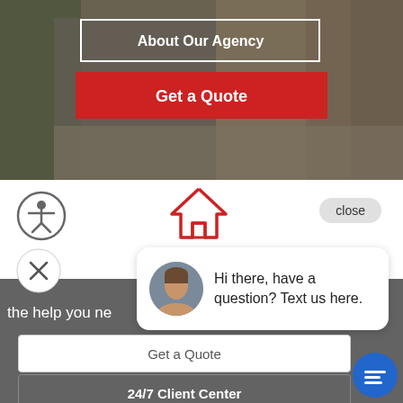[Figure (screenshot): Insurance agency website screenshot showing a hero image of a colorful street/alley with buttons overlaid]
About Our Agency
Get a Quote
[Figure (screenshot): Bottom section showing accessibility icon, home icon in red, close button, X button, chat bubble popup with avatar saying 'Hi there, have a question? Text us here.', partial text 'the help you ne', Get a Quote button, 24/7 Client Center button, and blue chat icon]
Hi there, have a question? Text us here.
the help you ne
Get a Quote
24/7 Client Center